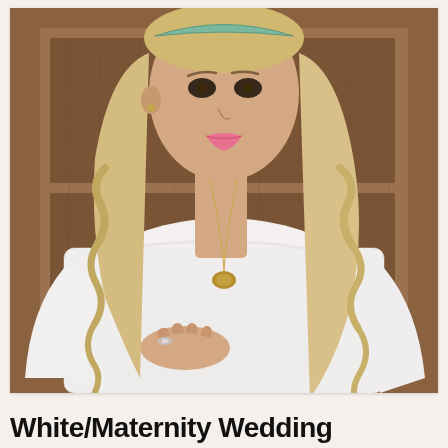[Figure (photo): A pregnant woman with long curly blonde hair wearing a white lace off-shoulder maternity wedding dress with long sleeves. She is wearing a gold pendant necklace and a diamond ring, gently resting her hand on her baby bump. She has a teal/mint headband. The background shows a wooden door. The photo has a white border (polaroid style).]
White/Maternity Wedding